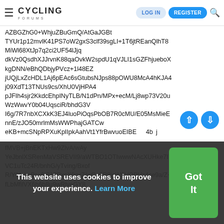Cycling Forums - LOG IN | REGISTER
AZBGZhG0+WhjuZBuGmQ/AtGaJGBt TYUr1p12mvlK41PS7oW2gxS3clf39sgLI+1T6jtREanQlhT8 MiWl68XtJp7q2ci2UF54lJjq dkVz0QsdhXJJrvnK88qaOvkW2spdU1qVJLI1sGZFhjueboX kgDNN/eBhQDbjyPVcz+1l48EZ jUQjLxZcHDL1Aj6pEAc6sGtubsNJps88pOWU8McA4hKJA4 j09XdT13TNUs9cs/XhU0VjHPA4 pJFIh4sjr2KkdcEhpINyTLB/N1dPn/MPx+ecM/Lj8wp73V20u WzWwvY0b04UqsciR/bhdG3V I6g/7R7nbXCXkK3EJ4luoPiOqsPbOB7R0cMU/E05MsMieE nnE/zJO50mrlmMsWWPhajGATCw eKB+mcSNpRPXuKpIIpkAahVt1YfrBwvuoEIBE 4b j fMVB+jBnEKTxHw9ZlvA/wAy YeJbnlXSRenMaVSREVII9/aWTBO1OTIwwwNAcXUHke7I7 VC1uTc24R/bnhG/yTving/Bxof R/Y9f+bcBr+6lS17PxcX9gx7/wCq9R8icW9VOPVz4ce9a/Z+ fLbMfilVX6h6b8u9wRlveGY8
This website uses cookies to improve your experience. Learn More | Got It